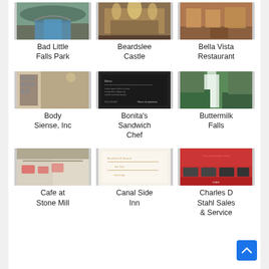[Figure (photo): Bad Little Falls Park - river through rocky gorge]
Bad Little Falls Park
[Figure (photo): Beardslee Castle - elegant dining interior with chandeliers]
Beardslee Castle
[Figure (photo): Bella Vista Restaurant - dining room interior]
Bella Vista Restaurant
[Figure (photo): Body Siense, Inc - store shelving interior]
Body Siense, Inc
[Figure (photo): Bonita's Sandwich Chef - dark menu board]
Bonita's Sandwich Chef
[Figure (photo): Buttermilk Falls - waterfall through green forest]
Buttermilk Falls
[Figure (photo): Cafe at Stone Mill - cafe interior with tables]
Cafe at Stone Mill
[Figure (photo): Canal Side Inn - menu or document]
Canal Side Inn
[Figure (photo): Charles D Stahl Sales & Service - red storefront]
Charles D Stahl Sales & Service